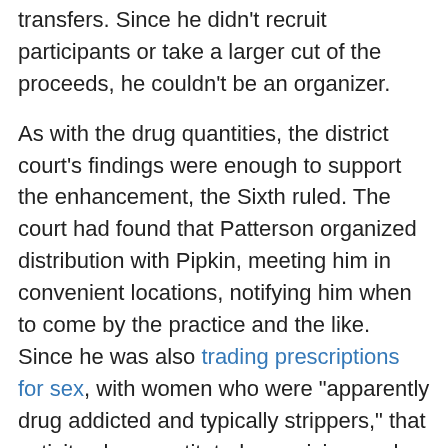transfers. Since he didn't recruit participants or take a larger cut of the proceeds, he couldn't be an organizer.
As with the drug quantities, the district court's findings were enough to support the enhancement, the Sixth ruled. The court had found that Patterson organized distribution with Pipkin, meeting him in convenient locations, notifying him when to come by the practice and the like. Since he was also trading prescriptions for sex, with women who were "apparently drug addicted and typically strippers," that activity also constituted organizing, as he induced and benefited from the behavior.
The Sixth affirmed the sentence in full, leaving little recourse left to the drug dealing doc.
Related Resources:
American Pain: The Largest U.S. Pill Mill's Rise and Fall (Bloomberg)